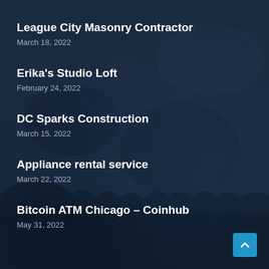League City Masonry Contractor
March 18, 2022
Erika's Studio Loft
February 24, 2022
DC Sparks Construction
March 15, 2022
Appliance rental service
March 22, 2022
Bitcoin ATM Chicago – Coinhub
May 31, 2022